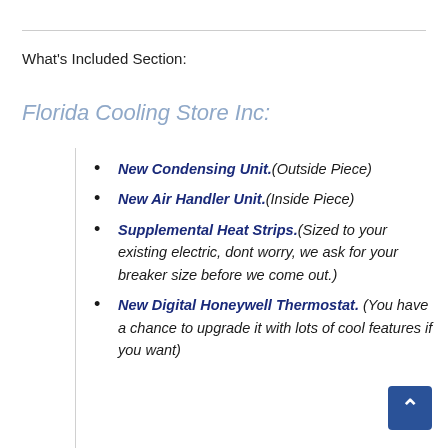What's Included Section:
Florida Cooling Store Inc:
New Condensing Unit.(Outside Piece)
New Air Handler Unit.(Inside Piece)
Supplemental Heat Strips.(Sized to your existing electric, dont worry, we ask for your breaker size before we come out.)
New Digital Honeywell Thermostat.(You have a chance to upgrade it with lots of cool features if you want)